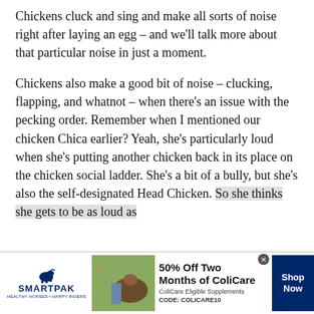Chickens cluck and sing and make all sorts of noise right after laying an egg – and we'll talk more about that particular noise in just a moment.
Chickens also make a good bit of noise – clucking, flapping, and whatnot – when there's an issue with the pecking order. Remember when I mentioned our chicken Chica earlier? Yeah, she's particularly loud when she's putting another chicken back in its place on the chicken social ladder. She's a bit of a bully, but she's also the self-designated Head Chicken. So she thinks she gets to be as loud as
[Figure (infographic): SmartPak advertisement banner. Shows SmartPak logo with horse icon, a product image with a person and horse, text reading '50% Off Two Months of ColiCare, ColiCare Eligible Supplements, CODE: COLICARE10', and a blue 'Shop Now' button.]